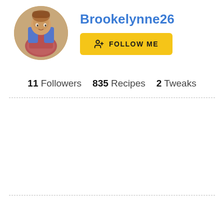[Figure (photo): Circular profile photo of a person in colorful clothing, appears to be a child or person in costume]
Brookelynne26
FOLLOW ME
11 Followers  835 Recipes  2 Tweaks